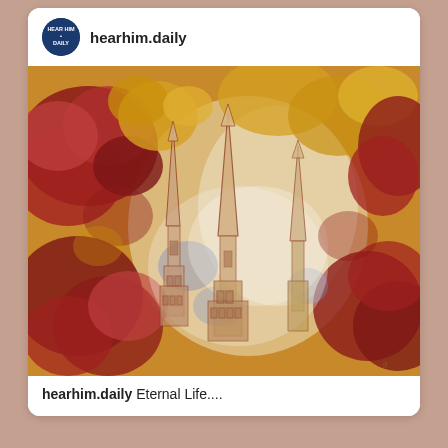hearhim.daily
[Figure (illustration): A colorful mixed-media painting featuring a church or temple with spires surrounded by vibrant red, gold, and blue floral/leaf abstract patterns.]
hearhim.daily Eternal Life....